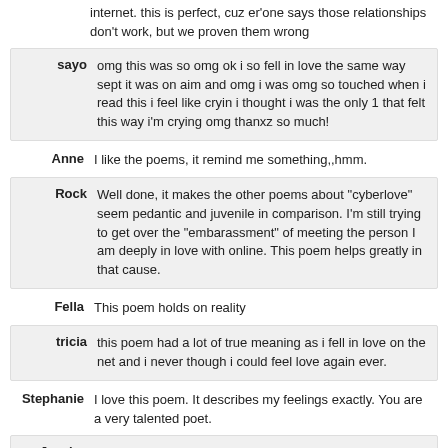internet. this is perfect, cuz er'one says those relationships don't work, but we proven them wrong
sayo: omg this was so omg ok i so fell in love the same way sept it was on aim and omg i was omg so touched when i read this i feel like cryin i thought i was the only 1 that felt this way i'm crying omg thanxz so much!
Anne: I like the poems, it remind me something,,hmm.
Rock: Well done, it makes the other poems about "cyberlove" seem pedantic and juvenile in comparison. I'm still trying to get over the "embarassment" of meeting the person I am deeply in love with online. This poem helps greatly in that cause.
Fella: This poem holds on reality
tricia: this poem had a lot of true meaning as i fell in love on the net and i never though i could feel love again ever.
Stephanie: I love this poem. It describes my feelings exactly. You are a very talented poet.
Jessica: I loved your poem, it was so touching!